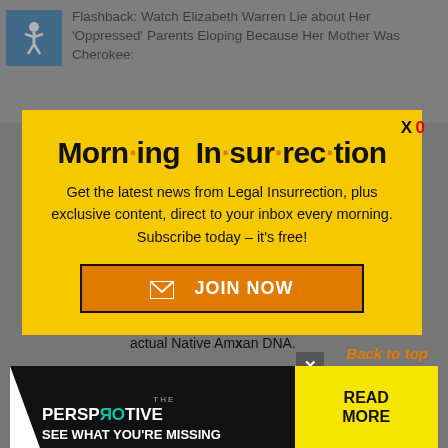Flashback: Watch Elizabeth Warren Lie about Her ‘Oppressed’ Parents Eloping Because Her Mother Was Cherokee:
[Figure (screenshot): Modal popup over a website page showing a Morning Insurrection newsletter subscription dialog with a yellow background, JOIN NOW button, and a Perspective advertisement at the bottom.]
Morn·ing In·sur·rec·tion
Get the latest news from Legal Insurrection, plus exclusive content, direct to your inbox every morning. Subscribe today – it’s free!
JOIN NOW
actual Native American DNA.
Back to top
THE PERSPECTIVE SEE WHAT YOU'RE MISSING READ MORE